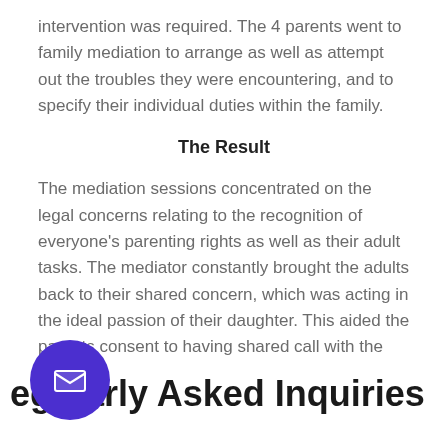intervention was required. The 4 parents went to family mediation to arrange as well as attempt out the troubles they were encountering, and to specify their individual duties within the family.
The Result
The mediation sessions concentrated on the legal concerns relating to the recognition of everyone's parenting rights as well as their adult tasks. The mediator constantly brought the adults back to their shared concern, which was acting in the ideal passion of their daughter. This aided the parents consent to having shared call with the woman.
Regularly Asked Inquiries